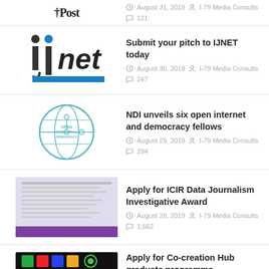Post — August 31, 2019 — I-79 Media Consults — 121
Submit your pitch to IJNET today
August 30, 2019   I-79 Media Consults   247
NDI unveils six open internet and democracy fellows
August 29, 2019   I-79 Media Consults   294
Apply for ICIR Data Journalism Investigative Award
August 28, 2019   I-79 Media Consults   1,562
Apply for Co-creation Hub graduate programme